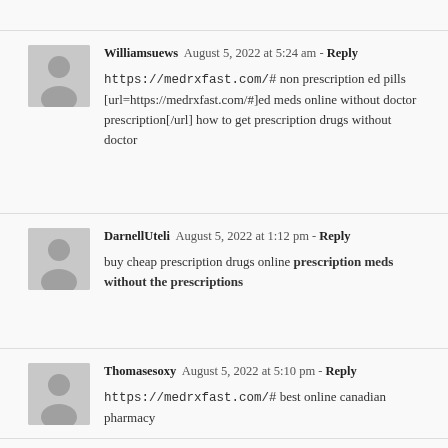Williamsuews  August 5, 2022 at 5:24 am - Reply
https://medrxfast.com/# non prescription ed pills [url=https://medrxfast.com/#]ed meds online without doctor prescription[/url] how to get prescription drugs without doctor
DarnellUteli  August 5, 2022 at 1:12 pm - Reply
buy cheap prescription drugs online prescription meds without the prescriptions
Thomasesoxy  August 5, 2022 at 5:10 pm - Reply
https://medrxfast.com/# best online canadian pharmacy